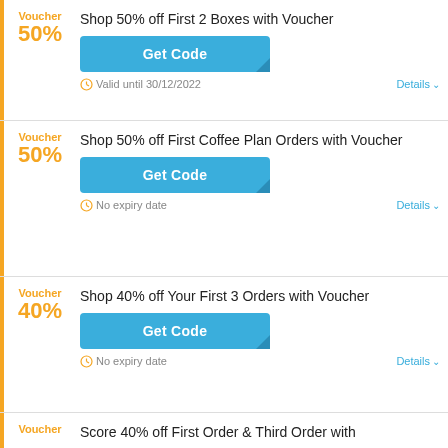Voucher 50% — Shop 50% off First 2 Boxes with Voucher — Get Code — Valid until 30/12/2022 — Details
Voucher 50% — Shop 50% off First Coffee Plan Orders with Voucher — Get Code — No expiry date — Details
Voucher 40% — Shop 40% off Your First 3 Orders with Voucher — Get Code — No expiry date — Details
Voucher — Score 40% off First Order & Third Order with